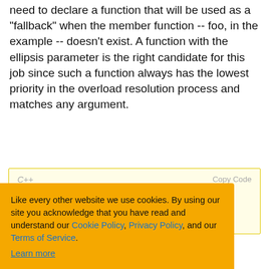answer function in the overload resolution set. We need to declare a function that will be used as a "fallback" when the member function -- foo, in the example -- doesn't exist. A function with the ellipsis parameter is the right candidate for this job since such a function always has the lowest priority in the overload resolution process and matches any argument.
[Figure (screenshot): Code block area with 'Copy Code' button on a pale yellow background, partially obscured by cookie consent overlay]
s always the resolution set, isual C++ 8 . The alternative Static structure as a parameter to the Test function instead
[Figure (infographic): Cookie consent overlay with orange background. Text: Like every other website we use cookies. By using our site you acknowledge that you have read and understand our Cookie Policy, Privacy Policy, and our Terms of Service. Learn more. Buttons: Ask me later, Decline, Allow cookies.]